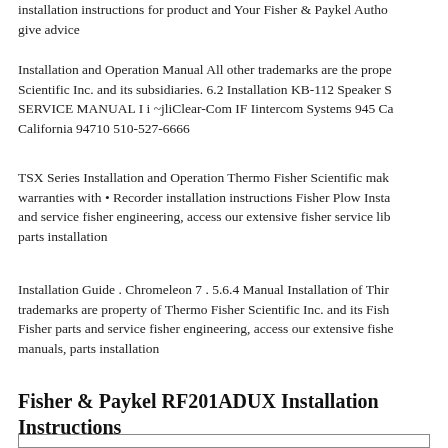installation instructions for product and Your Fisher & Paykel Autho give advice
Installation and Operation Manual All other trademarks are the prope Scientific Inc. and its subsidiaries. 6.2 Installation KB-112 Speaker S SERVICE MANUAL I i ~jliClear-Com IF Iintercom Systems 945 Ca California 94710 510-527-6666
TSX Series Installation and Operation Thermo Fisher Scientific mak warranties with • Recorder installation instructions Fisher Plow Insta and service fisher engineering, access our extensive fisher service lib parts installation
Installation Guide . Chromeleon 7 . 5.6.4 Manual Installation of Thir trademarks are property of Thermo Fisher Scientific Inc. and its Fish Fisher parts and service fisher engineering, access our extensive fishe manuals, parts installation
Fisher & Paykel RF201ADUX Installation Instructions